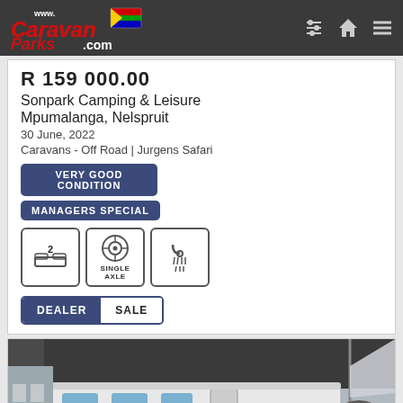www.CaravanParks.com
R 159 000.00
Sonpark Camping & Leisure
Mpumalanga, Nelspruit
30 June, 2022
Caravans - Off Road | Jurgens Safari
VERY GOOD CONDITION
MANAGERS SPECIAL
[Figure (infographic): Three feature icons: 2 berths (bed icon with number 2), Single Axle (wheel icon), and shower icon]
DEALER SALE
[Figure (photo): Photo of a white Jurgens Safari off-road caravan with awning extended, displayed outdoors at a dealership]